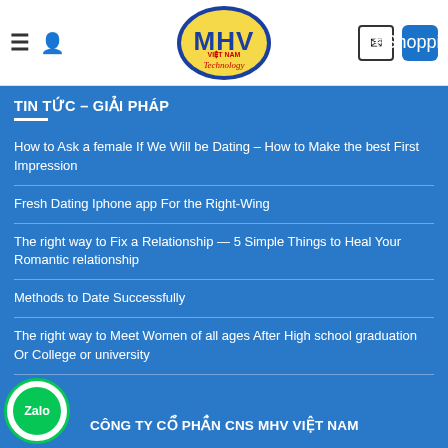[Figure (logo): MHV Việt Nam Technology logo — blue oval with yellow fill, blue bold MHV text, red 'VIỆT NAM' text, red italic 'Technology' text]
TIN TỨC – GIẢI PHÁP
How to Ask a female If We Will be Dating – How to Make the best First Impression
Fresh Dating Iphone app For the Right-Wing
The right way to Fix a Relationship — 5 Simple Things to Heal Your Romantic relationship
Methods to Date Successfully
The right way to Meet Women of all ages After High school graduation Or College or university
CÔNG TY CỔ PHẦN CNS MHV VIỆT NAM